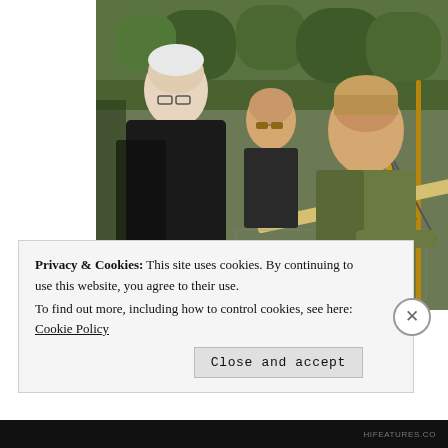[Figure (photo): Three people standing on a wooden suspension bridge with metal mesh railings. Trees are visible in the background. An older man with white hair in a dark jacket is on the left, a woman with sunglasses in the middle-back, and a younger woman in a green jacket leaning on the railing on the right.]
Privacy & Cookies: This site uses cookies. By continuing to use this website, you agree to their use.
To find out more, including how to control cookies, see here: Cookie Policy
Close and accept
HIFEATURES.CO